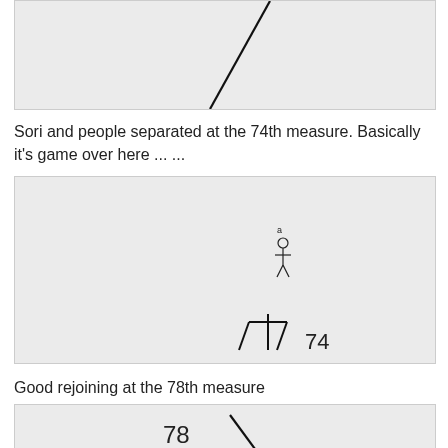[Figure (illustration): A diagram showing a diagonal line going from upper-right to lower-left on a light gray background, part of a music score or game board visualization (top portion, cropped).]
Sori and people separated at the 74th measure. Basically it's game over here ... ...
[Figure (illustration): A diagram on a light gray background showing small handwritten notation near the center and a person-like stick figure symbol with the number 74 at the bottom right area.]
Good rejoining at the 78th measure
[Figure (illustration): A diagram on a light gray background showing the number 78 at the bottom left with a backslash line, partially cropped (bottom of page).]